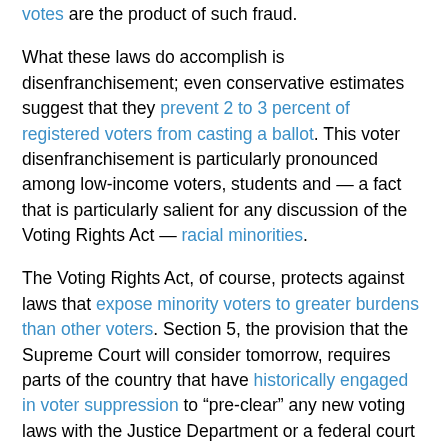votes are the product of such fraud.
What these laws do accomplish is disenfranchisement; even conservative estimates suggest that they prevent 2 to 3 percent of registered voters from casting a ballot. This voter disenfranchisement is particularly pronounced among low-income voters, students and — a fact that is particularly salient for any discussion of the Voting Rights Act — racial minorities.
The Voting Rights Act, of course, protects against laws that expose minority voters to greater burdens than other voters. Section 5, the provision that the Supreme Court will consider tomorrow, requires parts of the country that have historically engaged in voter suppression to "pre-clear" any new voting laws with the Justice Department or a federal court in DC to make sure they do not impose